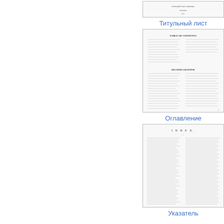[Figure (screenshot): Thumbnail of a title page document]
Титульный лист
[Figure (screenshot): Thumbnail of a Table of Contents page (TABLE OF CONTENTS, SECOND CHAPTER headings visible)]
Оглавление
[Figure (screenshot): Thumbnail of an Index page (INDEX heading visible, two-column index entries)]
Указатель